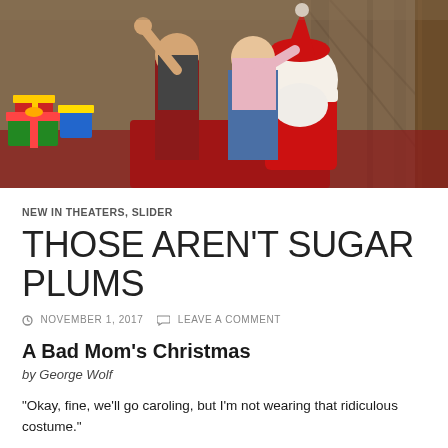[Figure (photo): Two women sitting on Santa's lap in a Christmas-themed setting with wrapped gifts visible in the background. One woman wears red pants, the other wears jeans and a pink sweater. Santa is in traditional red suit with white fur trim.]
NEW IN THEATERS, SLIDER
THOSE AREN'T SUGAR PLUMS
NOVEMBER 1, 2017  LEAVE A COMMENT
A Bad Mom's Christmas
by George Wolf
“Okay, fine, we’ll go caroling, but I’m not wearing that ridiculous costume.”